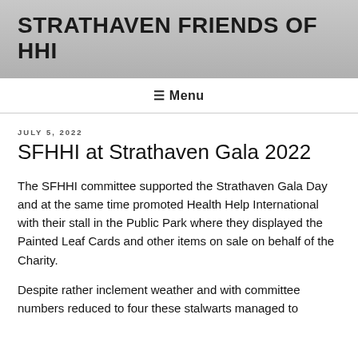STRATHAVEN FRIENDS OF HHI
≡ Menu
JULY 5, 2022
SFHHI at Strathaven Gala 2022
The SFHHI committee supported the Strathaven Gala Day and at the same time promoted Health Help International with their stall in the Public Park where they displayed the Painted Leaf Cards and other items on sale on behalf of the Charity.
Despite rather inclement weather and with committee numbers reduced to four these stalwarts managed to